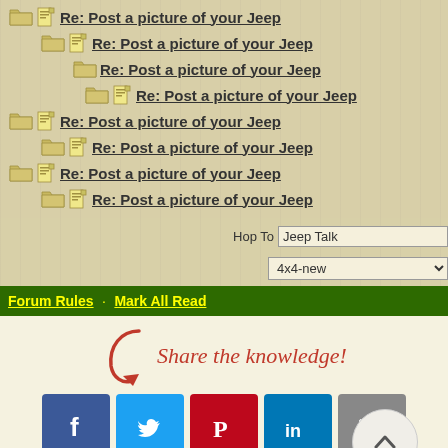Re: Post a picture of your Jeep
Re: Post a picture of your Jeep
Re: Post a picture of your Jeep
Re: Post a picture of your Jeep
Re: Post a picture of your Jeep
Re: Post a picture of your Jeep
Re: Post a picture of your Jeep
Re: Post a picture of your Jeep
Hop To  Jeep Talk
4x4-new
Forum Rules · Mark All Read
[Figure (infographic): Share the knowledge! social sharing buttons for Facebook, Twitter, Pinterest, LinkedIn, Email with a decorative arrow and italic red script text.]